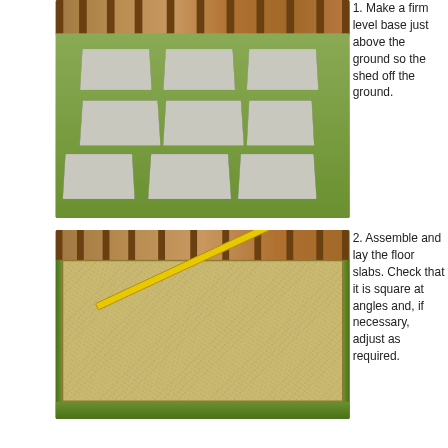1. Make a firm level base just above the ground so the shed off the ground.
[Figure (photo): Garden area with nine concrete paving slabs laid out in a 3x3 grid pattern on grass, with timber fencing in the background.]
[Figure (photo): A large OSB (oriented strand board) base/floor panel laid on grass, with a yellow measuring bar placed diagonally across it. Timber fencing visible in background.]
2. Assemble and lay the floor slabs. Check that it is square at angles and, if necessary, adjust as required.